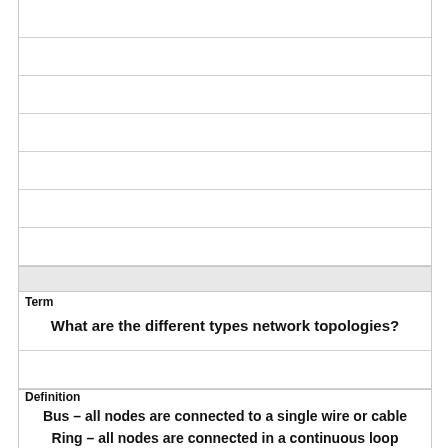Term
What are the different types network topologies?
Definition
Bus – all nodes are connected to a single wire or cable
Ring – all nodes are connected in a continuous loop
Star – all nodes are connected through a central host